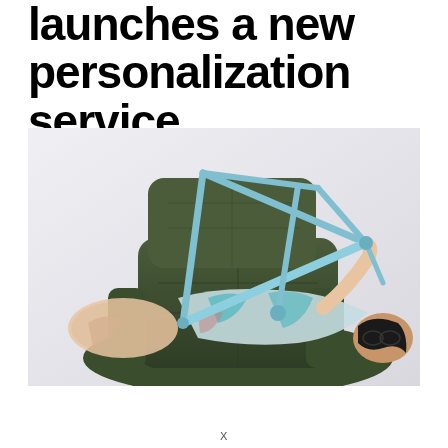launches a new personalization service
[Figure (photo): A person lying back on a dark green leather armchair, holding up a light blue bicycle frame with both hands against a light grey/white background. The person wears a colorful patterned dress.]
X